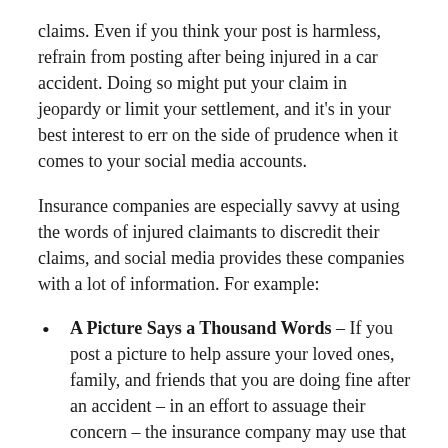claims. Even if you think your post is harmless, refrain from posting after being injured in a car accident. Doing so might put your claim in jeopardy or limit your settlement, and it's in your best interest to err on the side of prudence when it comes to your social media accounts.
Insurance companies are especially savvy at using the words of injured claimants to discredit their claims, and social media provides these companies with a lot of information. For example:
A Picture Says a Thousand Words – If you post a picture to help assure your loved ones, family, and friends that you are doing fine after an accident – in an effort to assuage their concern – the insurance company may use that post as evidence that your injuries aren't as serious as you claim. Further, a picture of you out dancing when you claim to have a serious hip injury could kill your claim.